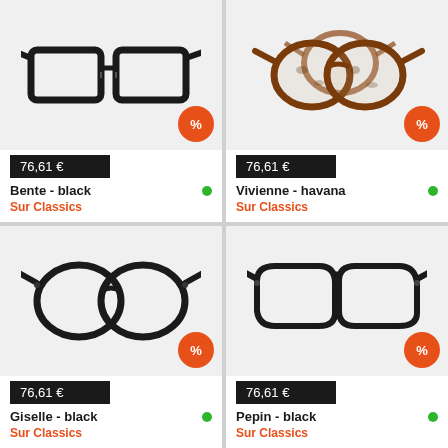[Figure (photo): Black rectangular eyeglasses frame - Bente black]
76,61 €
Bente - black
Sur Classics
[Figure (photo): Tortoiseshell/havana round eyeglasses frames - Vivienne havana]
76,61 €
Vivienne - havana
Sur Classics
[Figure (photo): Black round eyeglasses frame - Giselle black]
76,61 €
Giselle - black
Sur Classics
[Figure (photo): Black aviator/double-bridge eyeglasses frame - Pepin black]
76,61 €
Pepin - black
Sur Classics